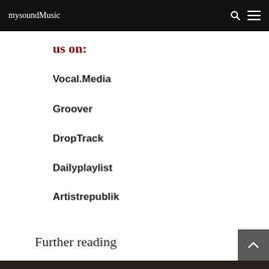mysoundMusic
us on:
Vocal.Media
Groover
DropTrack
Dailyplaylist
Artistrepublik
Further reading
[Figure (photo): Dark photo strip at bottom of page]